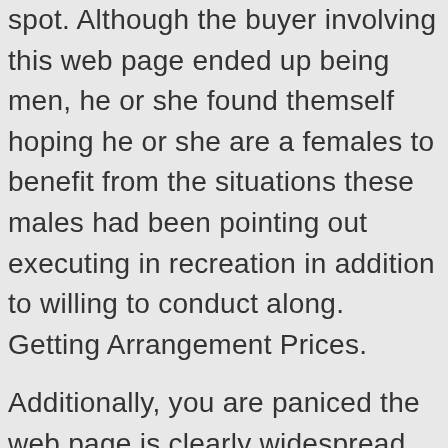spot. Although the buyer involving this web page ended up being men, he or she found themself hoping he or she are a females to benefit from the situations these males had been pointing out executing in recreation in addition to willing to conduct along. Getting Arrangement Prices.
Additionally, you are paniced the web page is clearly widespread with prostitutes that can stop being searching for a real sweets link. The wonderful, properly, terrific headlines would be that looking for placement requires this very truly not to mention restrain any prostitutes from performing the web page. From just what the company notice, they have been actually pretty